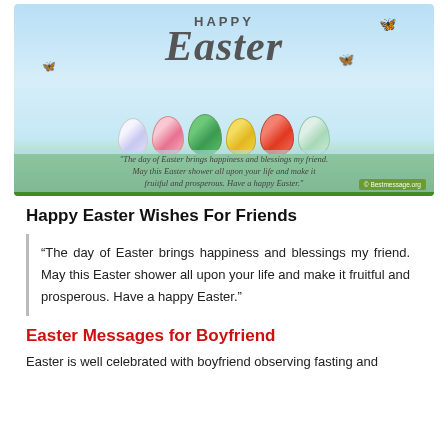[Figure (illustration): Happy Easter greeting card image with colorful Easter eggs in grass, butterflies, daisies, and text quote: 'The day of Easter brings happiness and blessings my friend. May this Easter shower all upon your life and make it fruitful and prosperous. Have a happy Easter.' Watermark: © Bestmessage.org]
Happy Easter Wishes For Friends
“The day of Easter brings happiness and blessings my friend. May this Easter shower all upon your life and make it fruitful and prosperous. Have a happy Easter.”
Easter Messages for Boyfriend
Easter is well celebrated with boyfriend observing fasting and